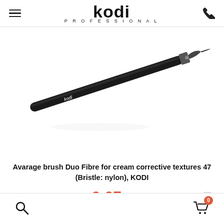kodi PROFESSIONAL
[Figure (photo): A Kodi Professional makeup brush (Duo Fibre for cream corrective textures 47) with a black handle, shown diagonally on a white background. The brush handle has 'kodi' branding on it.]
Avarage brush Duo Fibre for cream corrective textures 47 (Bristle: nylon), KODI
6.67 €
Buy
0